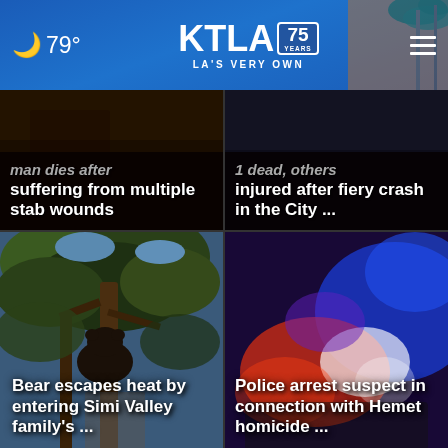79° KTLA 75 YEARS LA'S VERY OWN
[Figure (screenshot): News card: man dies after suffering from multiple stab wounds]
[Figure (screenshot): News card: 1 dead, others injured after fiery crash in the City ...]
[Figure (photo): Bear in tree photo with caption: Bear escapes heat by entering Simi Valley family's ...]
[Figure (photo): Police car lights photo with caption: Police arrest suspect in connection with Hemet homicide ...]